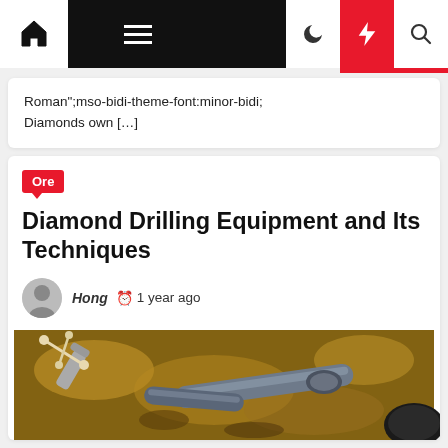Navigation bar with home, menu, dark mode, flash, and search icons
Roman";mso-bidi-theme-font:minor-bidi; Diamonds own […]
Ore
Diamond Drilling Equipment and Its Techniques
Hong  1 year ago
[Figure (photo): Aerial/overhead view of diamond drilling equipment in earthy/muddy ground, showing drill pipes and tools]